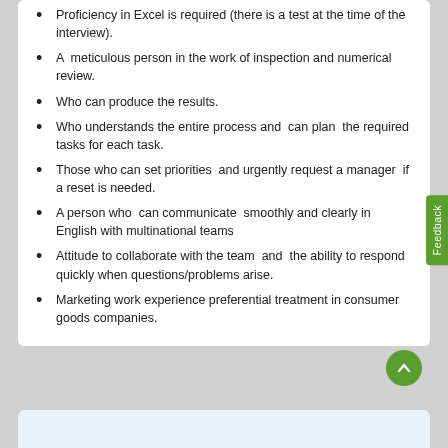Proficiency in Excel is required (there is a test at the time of the interview).
A meticulous person in the work of inspection and numerical review.
Who can produce the results.
Who understands the entire process and can plan the required tasks for each task.
Those who can set priorities and urgently request a manager if a reset is needed.
A person who can communicate smoothly and clearly in English with multinational teams
Attitude to collaborate with the team and the ability to respond quickly when questions/problems arise.
Marketing work experience preferential treatment in consumer goods companies.